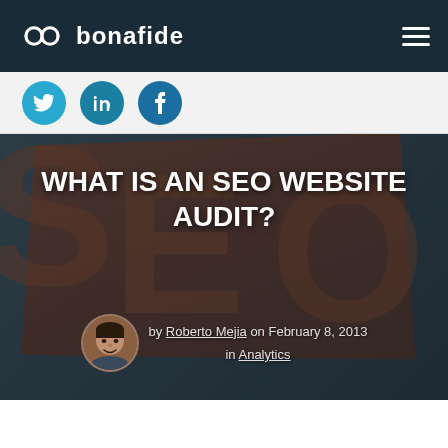bonafide
[Figure (logo): Bonafide logo with infinity-style icon and navigation hamburger menu on dark navy background]
[Figure (illustration): Social share icons: Twitter (cyan), LinkedIn (teal), Facebook (dark blue) circular buttons on light grey bar]
[Figure (photo): 3D SEO cube with letters S, E, O on dark teal/brown background hero image]
WHAT IS AN SEO WEBSITE AUDIT?
by Roberto Mejia on February 8, 2013 in Analytics